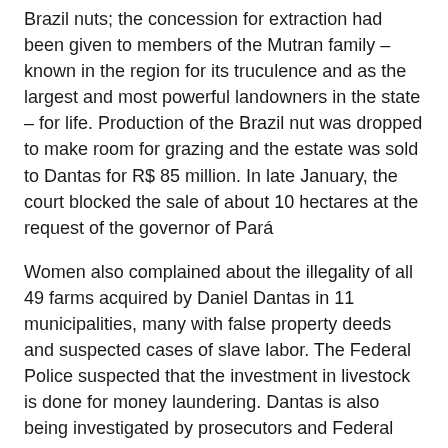Brazil nuts; the concession for extraction had been given to members of the Mutran family – known in the region for its truculence and as the largest and most powerful landowners in the state – for life. Production of the Brazil nut was dropped to make room for grazing and the estate was sold to Dantas for R$ 85 million. In late January, the court blocked the sale of about 10 hectares at the request of the governor of Pará
Women also complained about the illegality of all 49 farms acquired by Daniel Dantas in 11 municipalities, many with false property deeds and suspected cases of slave labor. The Federal Police suspected that the investment in livestock is done for money laundering. Dantas is also being investigated by prosecutors and Federal Police for corruption, money laundering and in Operation Satiagraha (see below).
On the morning of Tuesday (03/10/09), platoons of the Military Brigade of Rio Grande do Sul violently repressed the